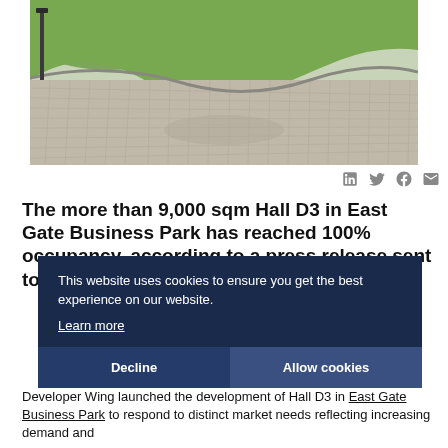[Figure (photo): Outdoor paved area with cobblestone driveway, green grass lawn, and lamp post at East Gate Business Park]
in f ✉
The more than 9,000 sqm Hall D3 in East Gate Business Park has reached 100% occupancy, according to a press release sent to the Budapest Business Journal.
This website uses cookies to ensure you get the best experience on our website. Learn more
Decline   Allow cookies
Developer Wing launched the development of Hall D3 in East Gate Business Park to respond to distinct market needs reflecting increasing demand and